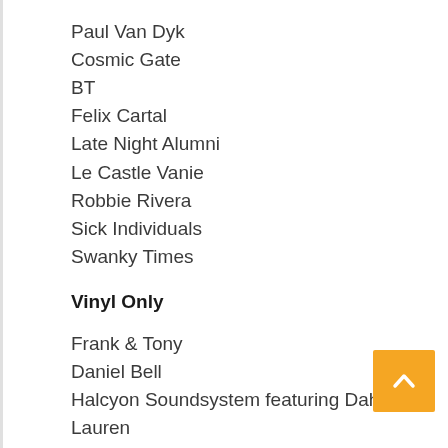Paul Van Dyk
Cosmic Gate
BT
Felix Cartal
Late Night Alumni
Le Castle Vanie
Robbie Rivera
Sick Individuals
Swanky Times
Vinyl Only
Frank & Tony
Daniel Bell
Halcyon Soundsystem featuring Dahlia & Lauren Ritter
Norm Tally
Sunday, August 31